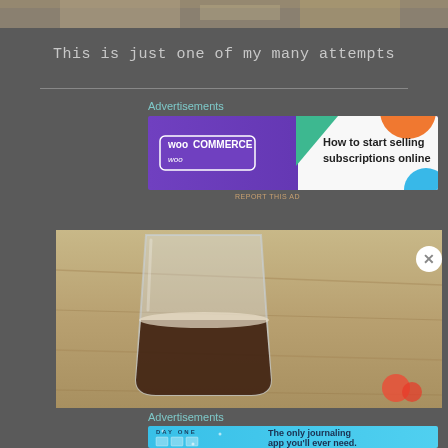[Figure (photo): Top portion of a photo showing food/craft items on a surface, partially cropped]
This is just one of my many attempts
Advertisements
[Figure (photo): WooCommerce advertisement banner: 'How to start selling subscriptions online']
REPORT THIS AD
[Figure (photo): Photo of a glass of dark beer/beverage on a wooden table surface]
Advertisements
[Figure (photo): Day One journaling app advertisement: 'The only journaling app you'll ever need.']